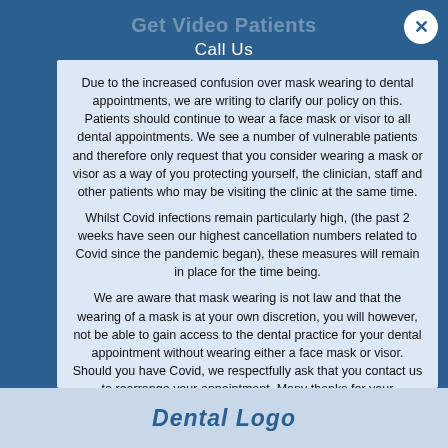Call Us
Due to the increased confusion over mask wearing to dental appointments, we are writing to clarify our policy on this. Patients should continue to wear a face mask or visor to all dental appointments.  We see a number of vulnerable patients and therefore only request that you consider wearing a mask or visor as a way of you protecting yourself, the clinician, staff and other patients who may be visiting the clinic at the same time.
Whilst Covid infections remain particularly high, (the past 2 weeks have seen our highest cancellation numbers related to Covid since the pandemic began), these measures will remain in place for the time being.
We are aware that mask wearing is not law and that the wearing of a mask is at your own discretion, you will however, not be able to gain access to the dental practice for your dental appointment without wearing either a face mask or visor. Should you have Covid, we respectfully ask that you contact us to rearrange your appointment.  Many thanks for your understanding and co-operation.